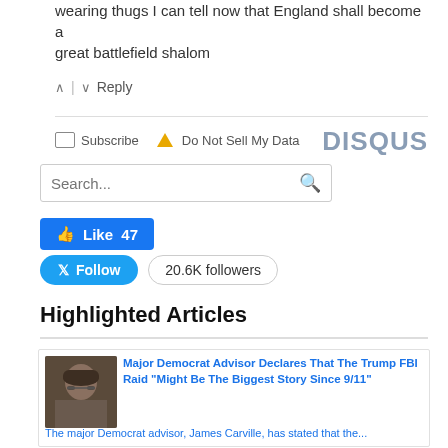wearing thugs I can tell now that England shall become a great battlefield shalom
↑ | ↓   Reply
✉ Subscribe   ▲ Do Not Sell My Data
DISQUS
[Figure (screenshot): Search input box with magnifying glass icon]
[Figure (screenshot): Facebook Like button showing 47 likes]
[Figure (screenshot): Twitter Follow button with 20.6K followers count]
Highlighted Articles
[Figure (screenshot): Article card with photo of a man wearing glasses and cap, with headline: Major Democrat Advisor Declares That The Trump FBI Raid "Might Be The Biggest Story Since 9/11"]
The major Democrat advisor, James Carville, has stated that the...